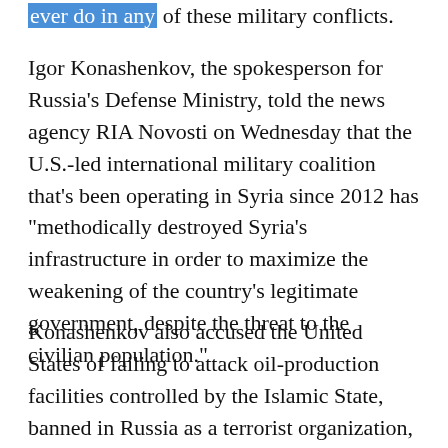ever do in any of these military conflicts.
Igor Konashenkov, the spokesperson for Russia's Defense Ministry, told the news agency RIA Novosti on Wednesday that the U.S.-led international military coalition that's been operating in Syria since 2012 has “methodically destroyed Syria’s infrastructure in order to maximize the weakening of the country’s legitimate government, despite the threat to the civilian population.”
Konashenkov also accused the United States of failing to attack oil-production facilities controlled by the Islamic State, banned in Russia as a terrorist organization, which allowed the group to earn tens of millions of dollars on illicit oil sales, and thereby